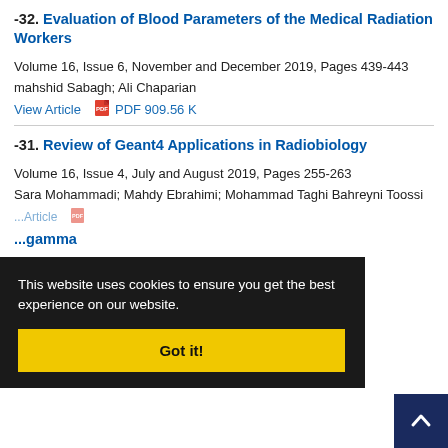-32. Evaluation of Blood Parameters of the Medical Radiation Workers
Volume 16, Issue 6, November and December 2019, Pages 439-443
mahshid Sabagh; Ali Chaparian
View Article   PDF 909.56 K
-31. Review of Geant4 Applications in Radiobiology
Volume 16, Issue 4, July and August 2019, Pages 255-263
Sara Mohammadi; Mahdy Ebrahimi; Mohammad Taghi Bahreyni Toossi
...gamma
64-269
amiri; Mojta
Sankian; Hosein Azimian; Senide Abdollahi Dehkordi; SARA
[Figure (other): Cookie consent banner with dark background saying 'This website uses cookies to ensure you get the best experience on our website.' with a yellow 'Got it!' button]
[Figure (other): Dark navy 'back to top' button with upward arrow in bottom right corner]